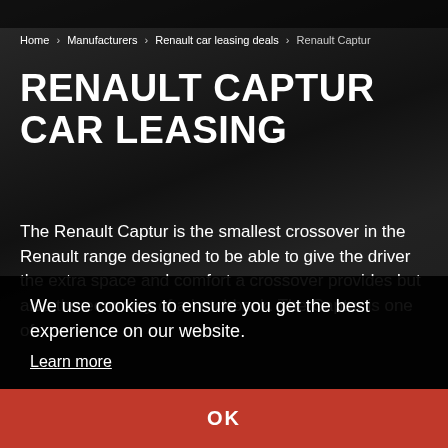Home > Manufacturers > Renault car leasing deals > Renault Captur
RENAULT CAPTUR CAR LEASING
The Renault Captur is the smallest crossover in the Renault range designed to be able to give the driver the extra space and comfort a crossover provides but also the economy of a hatchback. The Captur is one of
We use cookies to ensure you get the best experience on our website.
Learn more
OK